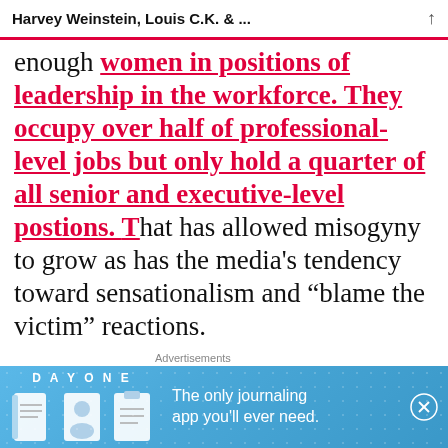Harvey Weinstein, Louis C.K. & ...
enough women in positions of leadership in the workforce. They occupy over half of professional-level jobs but only hold a quarter of all senior and executive-level postions. That has allowed misogyny to grow as has the media's tendency toward sensationalism and “blame the victim” reactions.
Advertisements
[Figure (infographic): DAY ONE journaling app advertisement banner with blue background, icons of a journal/book, person, and notepad, and text: The only journaling app you'll ever need.]